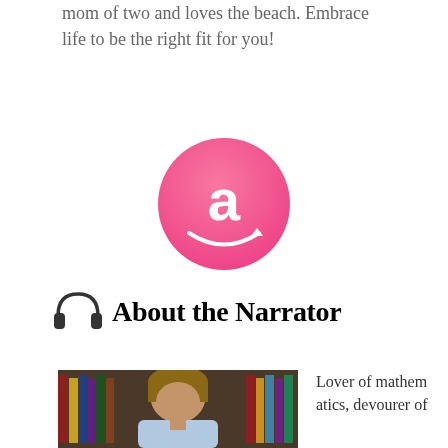mom of two and loves the beach. Embrace life to be the right fit for you!
[Figure (logo): Amazon logo — pink circle with white lowercase 'a' and arrow beneath]
🎧 About the Narrator
[Figure (photo): Young man with brown hair in front of bookshelves]
Lover of mathematics, devourer of